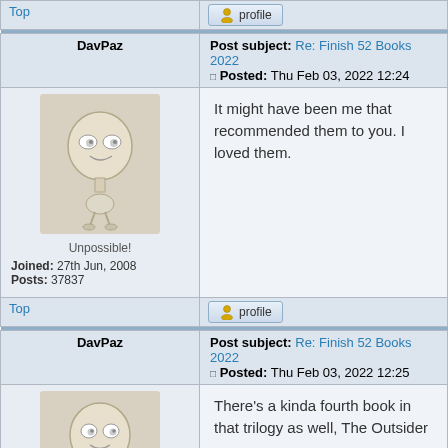| Top | profile |
| DavPaz | Post subject: Re: Finish 52 Books 2022 | Posted: Thu Feb 03, 2022 12:24 |
| [avatar] Unpossible! Joined: 27th Jun, 2008 Posts: 37837 | It might have been me that recommended them to you. I loved them. |
| Top | profile |
| DavPaz | Post subject: Re: Finish 52 Books 2022 | Posted: Thu Feb 03, 2022 12:25 |
| [avatar] Unpossible! Joined: 27th Jun, 2008 | There's a kinda fourth book in that trilogy as well, The Outsider |